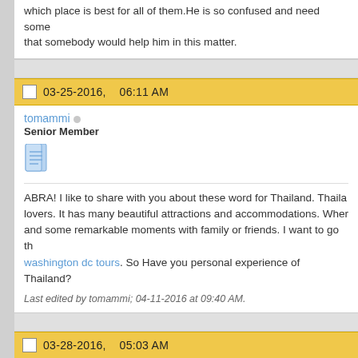which place is best for all of them.He is so confused and need some... that somebody would help him in this matter.
03-25-2016,   06:11 AM
tomammi
Senior Member
ABRA! I like to share with you about these word for Thailand. Thailand... lovers. It has many beautiful attractions and accommodations. Where... and some remarkable moments with family or friends. I want to go th... washington dc tours. So Have you personal experience of Thailand?
Last edited by tomammi; 04-11-2016 at 09:40 AM.
03-28-2016,   05:03 AM
tomammi
Senior Member